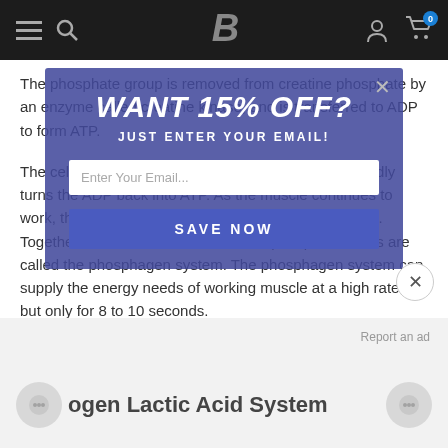Bodybuilding.com navigation bar with menu, search, logo, account, and cart icons
The phosphate group is removed from creatine phosphate by an enzyme called creatine kinase, and is transferred to ADP to form ATP.
The cell turns ATP into ADP, and the phosphagen rapidly turns the ADP back into ATP. As the muscle continues to work, the creatine phosphate levels begin to decrease. Together, the ATP levels and creatine phosphate levels are called the phosphagen system. The phosphagen system can supply the energy needs of working muscle at a high rate, but only for 8 to 10 seconds.
[Figure (screenshot): Email signup popup overlay with 'WANT 15% OFF?' heading, 'JUST ENTER YOUR EMAIL!' subheading, email input field, and 'SAVE NOW' button, displayed over the article content with blue-purple overlay]
Report an ad
ogen Lactic Acid System